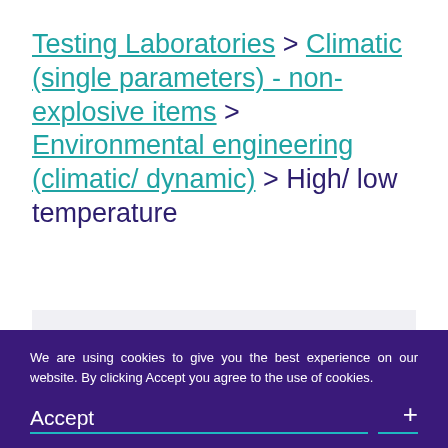Testing Laboratories > Climatic (single parameters) - non-explosive items > Environmental engineering (climatic/ dynamic) > High/ low temperature
Thales UK Ltd
Testing Laboratories / 0416
Manor Royal, Crawley, West Sussex RH10
We are using cookies to give you the best experience on our website. By clicking Accept you agree to the use of cookies.
Accept +